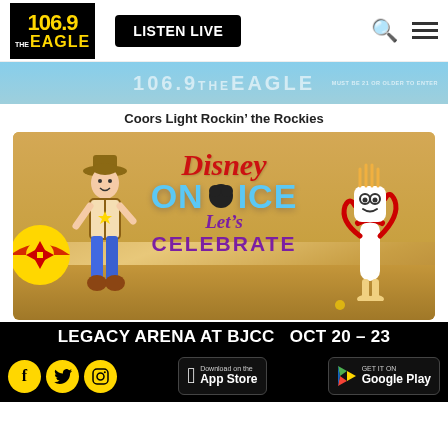[Figure (logo): 106.9 The Eagle radio station logo in black box with yellow text]
LISTEN LIVE
[Figure (screenshot): 106.9 The Eagle Coors Light Rockin the Rockies banner ad with blue mountain background, must be 21 or older to enter]
Coors Light Rockin’ the Rockies
[Figure (photo): Disney On Ice Let's Celebrate promotional image featuring Woody from Toy Story and Forky characters on a stage]
LEGACY ARENA AT BJCC  OCT 20 – 23
Social media icons (Facebook, Twitter, Instagram), Download on the App Store, Get it on Google Play